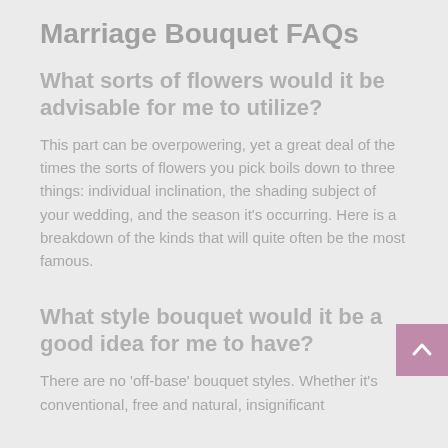Marriage Bouquet FAQs
What sorts of flowers would it be advisable for me to utilize?
This part can be overpowering, yet a great deal of the times the sorts of flowers you pick boils down to three things: individual inclination, the shading subject of your wedding, and the season it's occurring. Here is a breakdown of the kinds that will quite often be the most famous.
What style bouquet would it be a good idea for me to have?
There are no 'off-base' bouquet styles. Whether it's conventional, free and natural, insignificant